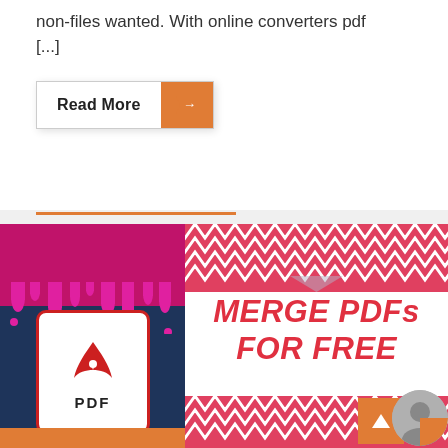non-files wanted. With online converters pdf [...]
Read More →
[Figure (illustration): Promotional banner for 'Merge PDFs for Free' service. Left side: dark navy blue background with pink/magenta drip paint effect at top, pink dots scattered, and a white PDF document icon with red Adobe Acrobat logo and 'PDF' label. Right side: white background with red/pink chevron zigzag pattern at top and bottom, large bold italic red text reading 'MERGE PDFs FOR FREE'. Bottom right corner has an orange square button with up-arrow and a grey circular button.]